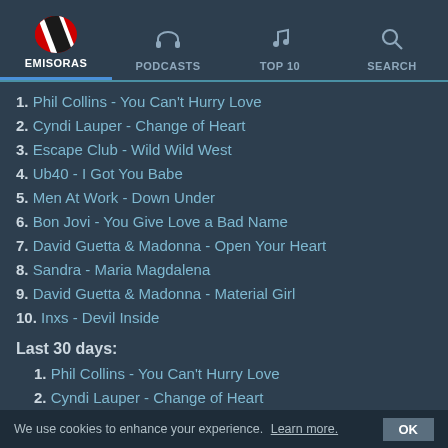EMISORAS | PODCASTS | TOP 10 | SEARCH
1. Phil Collins - You Can't Hurry Love
2. Cyndi Lauper - Change of Heart
3. Escape Club - Wild Wild West
4. Ub40 - I Got You Babe
5. Men At Work - Down Under
6. Bon Jovi - You Give Love a Bad Name
7. David Guetta & Madonna - Open Your Heart
8. Sandra - Maria Magdalena
9. David Guetta & Madonna - Material Girl
10. Inxs - Devil Inside
Last 30 days:
1. Phil Collins - You Can't Hurry Love
2. Cyndi Lauper - Change of Heart
3. Men At Work - Down Under
4. Living In A Box - Living in a Box
5. Ub40 - I Got You Babe
We use cookies to enhance your experience. Learn more. OK